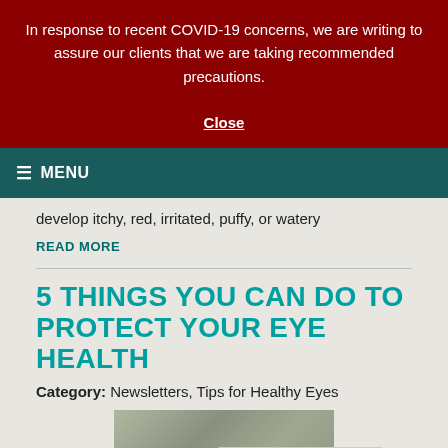In response to recent COVID-19 concerns, we are writing to assure our clients that we are taking recommended precautions.
Close
≡ MENU
develop itchy, red, irritated, puffy, or watery
READ MORE
5 THINGS YOU CAN DO TO PROTECT YOUR EYE HEALTH
Category: Newsletters, Tips for Healthy Eyes
[Figure (photo): Partial photo of an eye or eye-related subject, partially visible at bottom of page]